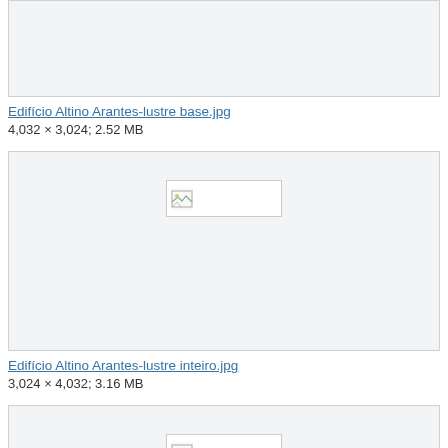[Figure (screenshot): Top image box for first file, partially cropped at top of page with light gray background]
Edifício Altino Arantes-lustre base.jpg
4,032 × 3,024; 2.52 MB
[Figure (screenshot): Middle image box showing a broken image placeholder icon on light gray background]
Edifício Altino Arantes-lustre inteiro.jpg
3,024 × 4,032; 3.16 MB
[Figure (screenshot): Bottom image box showing a broken image placeholder icon on light gray background, partially cropped]